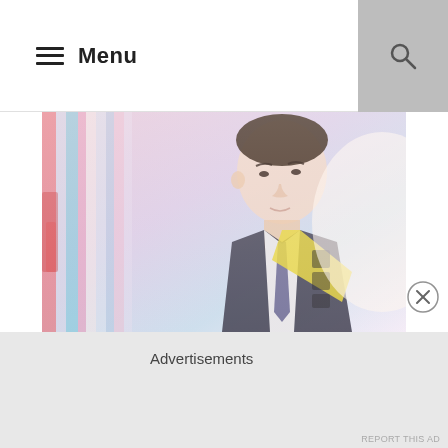Menu
[Figure (photo): A young man wearing a dark suit and yellow sash with Korean characters, standing in a colorful store with scarves/ribbons in the background. Soft pink and pastel tones.]
It was a bit funny how Ba-reun was dragged into wearing that campaign sash and convince every store owners with his bedimpled smile. O Reum is really
Advertisements